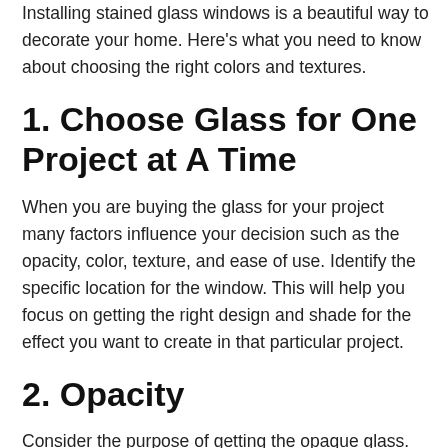Installing stained glass windows is a beautiful way to decorate your home. Here's what you need to know about choosing the right colors and textures.
1. Choose Glass for One Project at A Time
When you are buying the glass for your project many factors influence your decision such as the opacity, color, texture, and ease of use. Identify the specific location for the window. This will help you focus on getting the right design and shade for the effect you want to create in that particular project.
2. Opacity
Consider the purpose of getting the opaque glass. There’re Opals that you can’t see through them and there’s cathedral opaque that is transparent even with their intense and beautiful color.